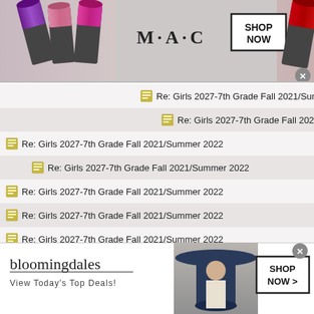[Figure (photo): MAC cosmetics advertisement banner showing lipsticks and SHOP NOW button]
Re: Girls 2027-7th Grade Fall 2021/Summer 2022
Re: Girls 2027-7th Grade Fall 2021/Summer 2022
Re: Girls 2027-7th Grade Fall 2021/Summer 2022
Re: Girls 2027-7th Grade Fall 2021/Summer 2022
Re: Girls 2027-7th Grade Fall 2021/Summer 2022
Re: Girls 2027-7th Grade Fall 2021/Summer 2022
Re: Girls 2027-7th Grade Fall 2021/Summer 2022
Re: Girls 2027-7th Grade Fall 2021/Summer 2022
Re: Girls 2027-7th Grade Fall 2021/Summer 2022
Re: Girls 2027-7th Grade Fall 2021/Summer 2022
[Figure (photo): Bloomingdale's advertisement banner with model in hat and SHOP NOW button]